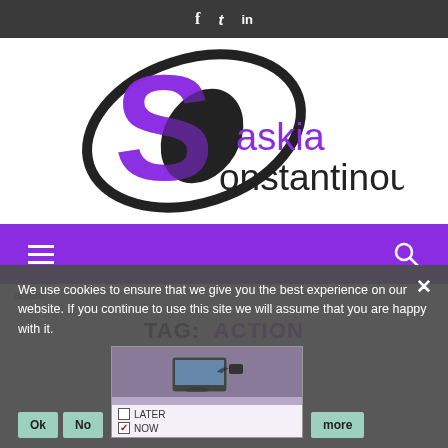f  t  in
[Figure (logo): Saskia Constantinou logo with large stylized S in purple and black, text 'askia onstantinou' in purple and dark serif font]
[Figure (other): Purple navigation bar with hamburger menu icon on left and search icon on right]
action
TAG:  ACTION
We use cookies to ensure that we give you the best experience on our website. If you continue to use this site we will assume that you are happy with it.
[Figure (screenshot): Article thumbnail showing a laptop with a person, with LATER and NOW checkbox options]
Ok  No  more